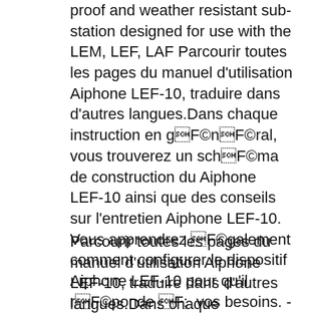proof and weather resistant sub-station designed for use with the LEM, LEF, LAF Parcourir toutes les pages du manuel d'utilisation Aiphone LEF-10, traduire dans d'autres langues.Dans chaque instruction en général, vous trouverez un schéma de construction du Aiphone LEF-10 ainsi que des conseils sur l'entretien Aiphone LEF-10. Vous apprendrez également comment configurer le dispositif Aiphone LEF-10 pour qu'il réponde à vos besoins. - page 2
Parcourir toutes les pages du manuel d'utilisation Aiphone LEF-10, traduire dans d'autres langues.Dans chaque instruction en général, vous